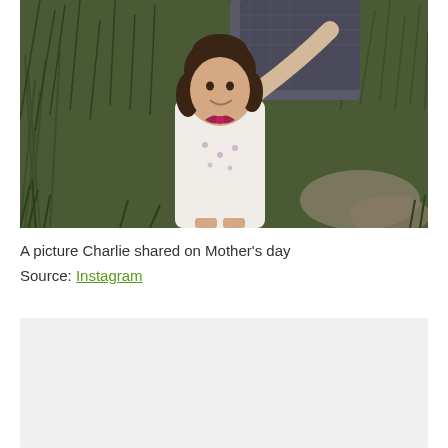[Figure (photo): A young girl with dark curly hair wearing a white top with a pink/red bow, standing in front of tall grass. An adult's arm is visible reaching over the child's head.]
A picture Charlie shared on Mother's day
Source: Instagram
[Figure (photo): Partially visible second image, mostly light gray/beige, bottom of page.]